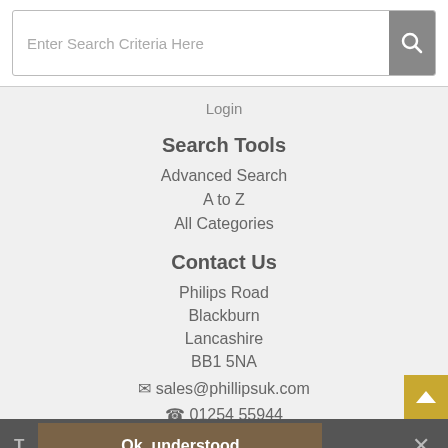Enter Search Criteria Here
Login
Search Tools
Advanced Search
A to Z
All Categories
Contact Us
Philips Road
Blackburn
Lancashire
BB1 5NA
✉ sales@phillipsuk.com
☎ 01254 55944
T  Ok, understood  ✕